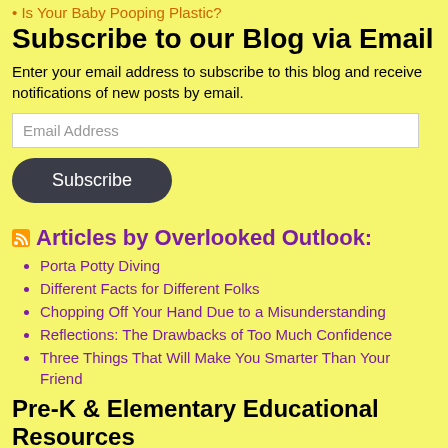Is Your Baby Pooping Plastic?
Subscribe to our Blog via Email
Enter your email address to subscribe to this blog and receive notifications of new posts by email.
Email Address
Subscribe
Articles by Overlooked Outlook:
Porta Potty Diving
Different Facts for Different Folks
Chopping Off Your Hand Due to a Misunderstanding
Reflections: The Drawbacks of Too Much Confidence
Three Things That Will Make You Smarter Than Your Friend
Pre-K & Elementary Educational Resources
100+ Curriculum themes, 1000's of activities,